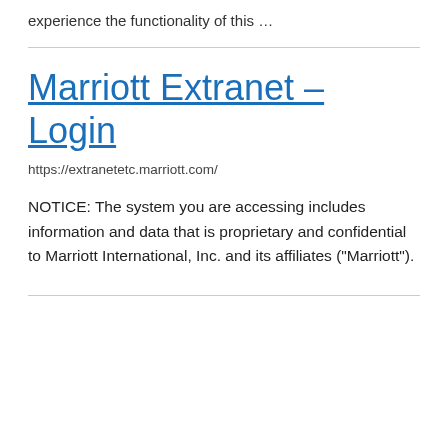experience the functionality of this …
Marriott Extranet – Login
https://extranetetc.marriott.com/
NOTICE: The system you are accessing includes information and data that is proprietary and confidential to Marriott International, Inc. and its affiliates ("Marriott").